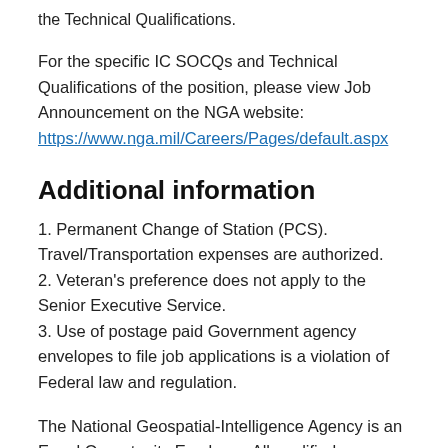the Technical Qualifications.
For the specific IC SOCQs and Technical Qualifications of the position, please view Job Announcement on the NGA website:
https://www.nga.mil/Careers/Pages/default.aspx
Additional information
1. Permanent Change of Station (PCS). Travel/Transportation expenses are authorized.
2. Veteran's preference does not apply to the Senior Executive Service.
3. Use of postage paid Government agency envelopes to file job applications is a violation of Federal law and regulation.
The National Geospatial-Intelligence Agency is an Equal Opportunity Employer. All qualified applicants will